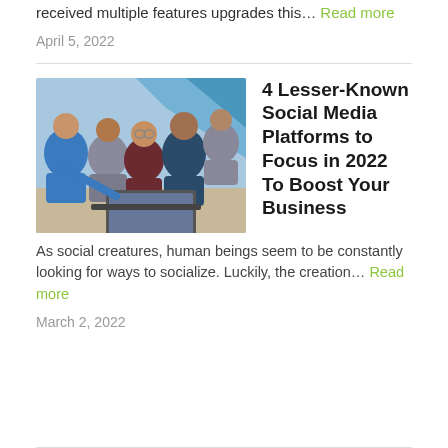received multiple features upgrades this… Read more
April 5, 2022
[Figure (photo): Group of people looking at a laptop screen together, smiling and excited, in an office or collaborative workspace setting]
4 Lesser-Known Social Media Platforms to Focus in 2022 To Boost Your Business
As social creatures, human beings seem to be constantly looking for ways to socialize. Luckily, the creation… Read more
March 2, 2022